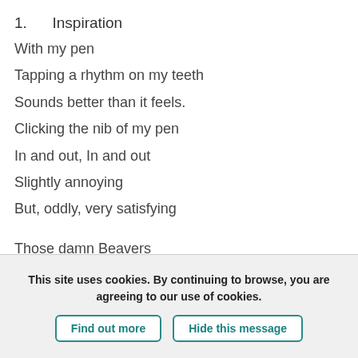1.      Inspiration
With my pen
Tapping a rhythm on my teeth
Sounds better than it feels.
Clicking the nib of my pen
In and out, In and out
Slightly annoying
But, oddly, very satisfying
Those damn Beavers
They have blocked the flow
Words and rhymes have all dried up.
This site uses cookies. By continuing to browse, you are agreeing to our use of cookies.